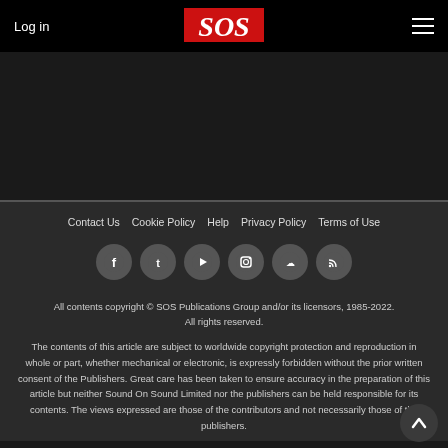Log in | SOS | [menu]
Contact Us  Cookie Policy  Help  Privacy Policy  Terms of Use
[Figure (other): Row of six social media icons: Facebook, Twitter, YouTube, Instagram, SoundCloud, RSS]
All contents copyright © SOS Publications Group and/or its licensors, 1985-2022. All rights reserved.
The contents of this article are subject to worldwide copyright protection and reproduction in whole or part, whether mechanical or electronic, is expressly forbidden without the prior written consent of the Publishers. Great care has been taken to ensure accuracy in the preparation of this article but neither Sound On Sound Limited nor the publishers can be held responsible for its contents. The views expressed are those of the contributors and not necessarily those of the publishers.